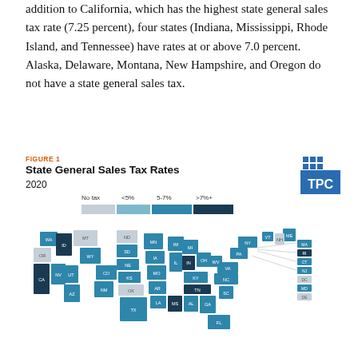addition to California, which has the highest state general sales tax rate (7.25 percent), four states (Indiana, Mississippi, Rhode Island, and Tennessee) have rates at or above 7.0 percent. Alaska, Delaware, Montana, New Hampshire, and Oregon do not have a state general sales tax.
FIGURE 1
State General Sales Tax Rates
2020
[Figure (map): Choropleth map of the United States showing state general sales tax rates in 2020. States are colored by rate category: light gray for No tax (Alaska, Delaware, Montana, New Hampshire, Oregon), light blue for <5%, medium blue for 5-7%, and dark navy for >7%+. States labeled with two-letter abbreviations.]